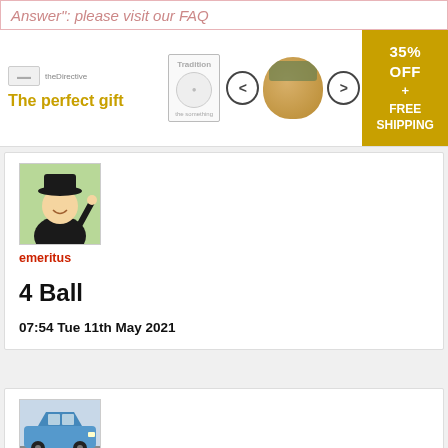Answer": please visit our FAQ
[Figure (infographic): Advertisement banner: 'The perfect gift' with stamp images, navigation arrows, food bowl photo, and '35% OFF + FREE SHIPPING' promo badge]
[Figure (illustration): User avatar: cartoon illustration of a person in black hat and suit raising hand]
emeritus
4 Ball
07:54 Tue 11th May 2021
[Figure (photo): User avatar photo: blue Ford Fiesta car parked on a street]
roslyn251254
1. Reading ...leading change the Left to Right